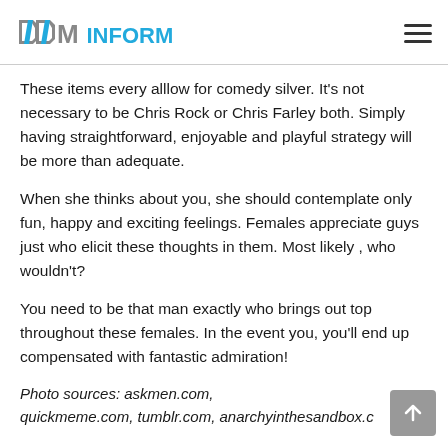DDM INFORMATICS
These items every alllow for comedy silver. It’s not necessary to be Chris Rock or Chris Farley both. Simply having straightforward, enjoyable and playful strategy will be more than adequate.
When she thinks about you, she should contemplate only fun, happy and exciting feelings. Females appreciate guys just who elicit these thoughts in them. Most likely , who wouldn’t?
You need to be that man exactly who brings out top throughout these females. In the event you, you’ll end up compensated with fantastic admiration!
Photo sources: askmen.com, quickmeme.com, tumblr.com, anarchyinthesandbox.c